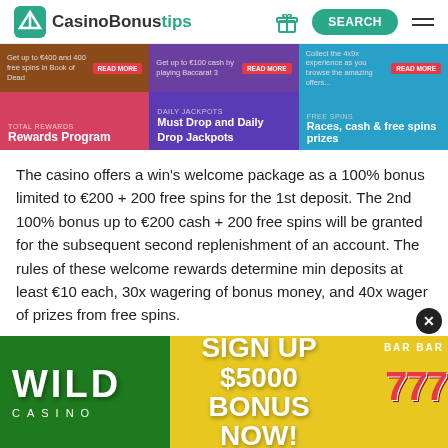CasinoBonustips — SEARCH
[Figure (screenshot): Casino bonus promotional banner grid showing Rewards Program, Must Drop and Daily Drop Jackpots, and Races cash & free spins prizes sections]
The casino offers a win's welcome package as a 100% bonus limited to €200 + 200 free spins for the 1st deposit. The 2nd 100% bonus up to €200 cash + 200 free spins will be granted for the subsequent second replenishment of an account. The rules of these welcome rewards determine min deposits at least €10 each, 30x wagering of bonus money, and 40x wager of prizes from free spins.
[Figure (infographic): Wild Casino advertisement banner — SIGN UP $5000 BONUS NOW! with slot machine 777 imagery]